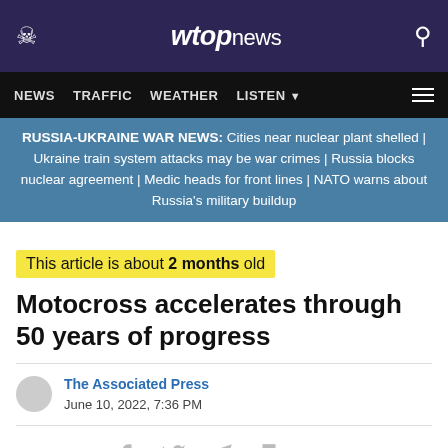wtop news
NEWS  TRAFFIC  WEATHER  LISTEN
RUSSIA-UKRAINE WAR NEWS: Cities near nuclear plant shelled | Ukraine train system attacks may be war crimes | Russia blocks nuclear agreement | Medic heads for front lines | NATO warns about Russia's military buildup
This article is about 2 months old
Motocross accelerates through 50 years of progress
The Associated Press
June 10, 2022, 7:36 PM
Share This: